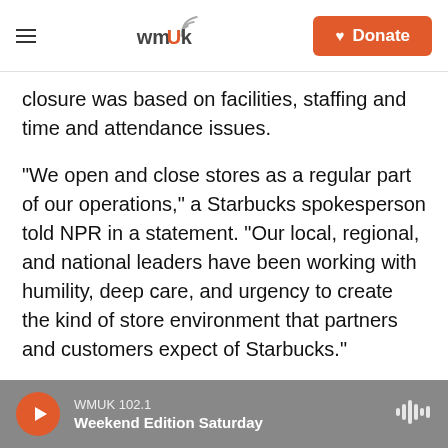WMUK [logo] Donate
closure was based on facilities, staffing and time and attendance issues.
"We open and close stores as a regular part of our operations," a Starbucks spokesperson told NPR in a statement. "Our local, regional, and national leaders have been working with humility, deep care, and urgency to create the kind of store environment that partners and customers expect of Starbucks."
Starbucks stores across the country have seen a surge of union organizing in the past several
WMUK 102.1 Weekend Edition Saturday